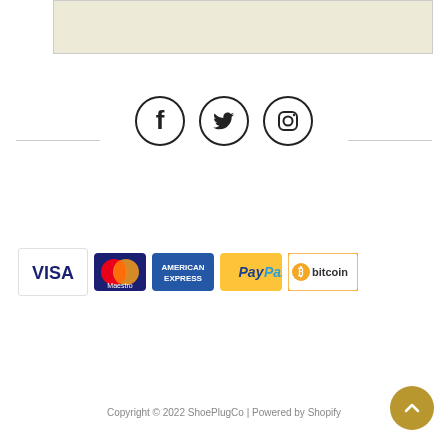[Figure (map): Partial map image shown at top of page, beige/off-white background]
[Figure (infographic): Social media icons: Facebook, Twitter, Instagram in circular outlines, with horizontal divider lines on either side]
[Figure (infographic): Payment method logos: VISA, Maestro, American Express, PayPal, Bitcoin]
Copyright © 2022 ShoePlugCo | Powered by Shopify